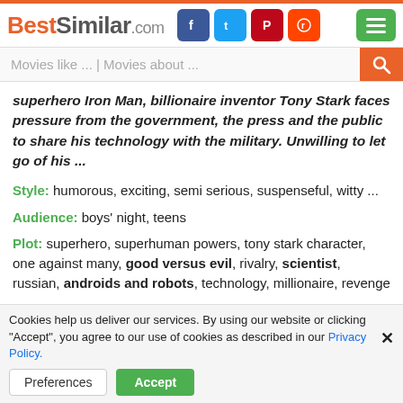BestSimilar.com
Movies like ... | Movies about ...
superhero Iron Man, billionaire inventor Tony Stark faces pressure from the government, the press and the public to share his technology with the military. Unwilling to let go of his ...
Style: humorous, exciting, semi serious, suspenseful, witty ...
Audience: boys' night, teens
Plot: superhero, superhuman powers, tony stark character, one against many, good versus evil, rivalry, scientist, russian, androids and robots, technology, millionaire, revenge ...
Time: 21st century, contemporary, 2010s, 2000s
Place: malibu california, monte carlo, monaco, washington d.c., new york ...
Cookies help us deliver our services. By using our website or clicking "Accept", you agree to our use of cookies as described in our Privacy Policy.